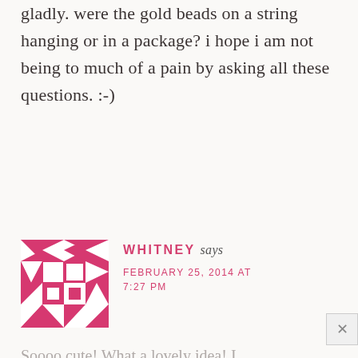gladly. were the gold beads on a string hanging or in a package? i hope i am not being to much of a pain by asking all these questions. :-)
[Figure (illustration): A decorative geometric avatar image with a pink/magenta mosaic tile pattern featuring squares, triangles, and bowtie shapes on white background.]
WHITNEY says FEBRUARY 25, 2014 AT 7:27 PM
Soooo cute! What a lovely idea! I